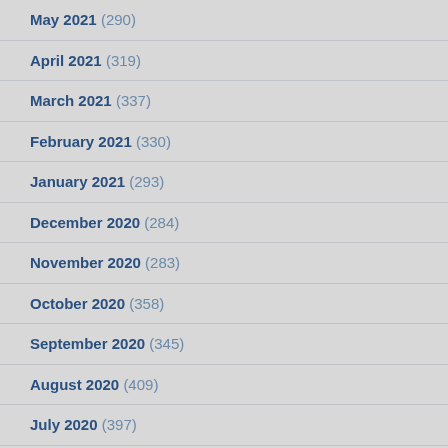May 2021 (290)
April 2021 (319)
March 2021 (337)
February 2021 (330)
January 2021 (293)
December 2020 (284)
November 2020 (283)
October 2020 (358)
September 2020 (345)
August 2020 (409)
July 2020 (397)
June 2020 (383)